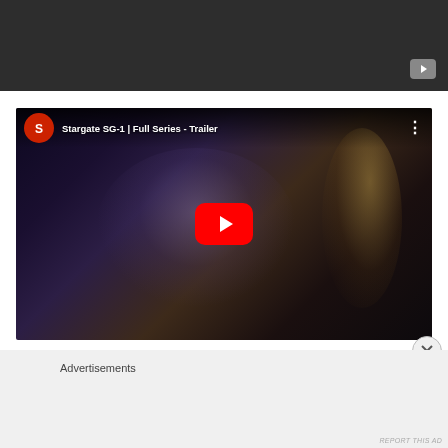[Figure (screenshot): Top portion of a dark video player embed (gray/dark background) with a YouTube icon in the lower-right corner]
[Figure (screenshot): YouTube embedded video player showing Stargate SG-1 Full Series Trailer with astronaut/space helmet close-up thumbnail, red play button, channel icon, and title bar]
Advertisements
REPORT THIS AD